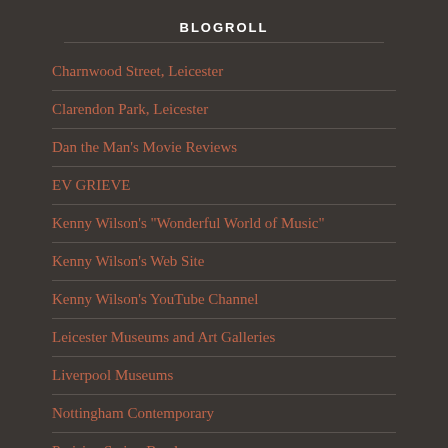BLOGROLL
Charnwood Street, Leicester
Clarendon Park, Leicester
Dan the Man's Movie Reviews
EV GRIEVE
Kenny Wilson's "Wonderful World of Music"
Kenny Wilson's Web Site
Kenny Wilson's YouTube Channel
Leicester Museums and Art Galleries
Liverpool Museums
Nottingham Contemporary
Parisian Swing Band